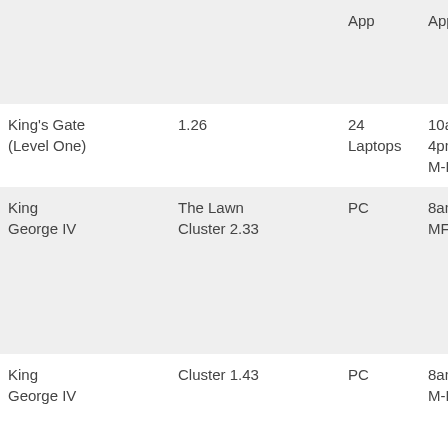| Location | Room | Type | Hours | Count | Access/Notes |
| --- | --- | --- | --- | --- | --- |
|  | App | App |  |  | teac
ava
the
App |
| King's Gate (Level One) | 1.26 | 24 Laptops | 10am-4pm M-F | 24 | Enq
Rec |
| King George IV | The Lawn Cluster 2.33 | PC | 8am-6pm MF | 31 | Ope
boo
ava
tea
ava
the
App |
| King George IV | Cluster 1.43 | PC | 8am-6pm M-F | 30 | ECL
tea
for |